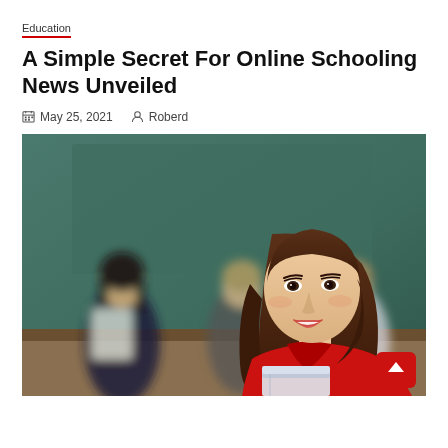Education
A Simple Secret For Online Schooling News Unveiled
May 25, 2021   Roberd
[Figure (photo): Students in a classroom setting; a smiling young woman in a red top holding notebooks is in the foreground, with blurred students in the background near a chalkboard. A scroll-to-top button (red, with up arrow) overlays the bottom-right corner.]